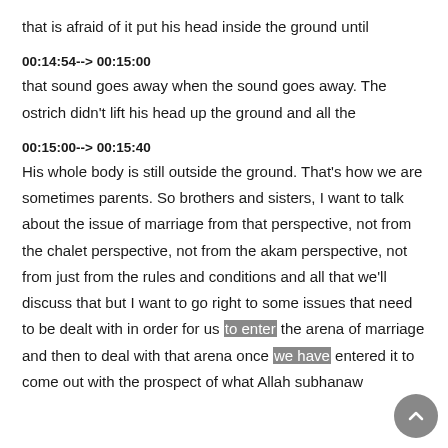that is afraid of it put his head inside the ground until
00:14:54--> 00:15:00
that sound goes away when the sound goes away. The ostrich didn't lift his head up the ground and all the
00:15:00--> 00:15:40
His whole body is still outside the ground. That's how we are sometimes parents. So brothers and sisters, I want to talk about the issue of marriage from that perspective, not from the chalet perspective, not from the akam perspective, not from just from the rules and conditions and all that we'll discuss that but I want to go right to some issues that need to be dealt with in order for us to enter the arena of marriage and then to deal with that arena once we have entered it to come out with the prospect of what Allah subhanaw